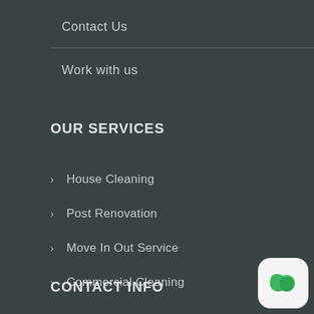Contact Us
Work with us
OUR SERVICES
House Cleaning
Post Renovation
Move In Out Service
Commercial Cleaning
CONTACT INFO
[Figure (illustration): Green chat bubble icon on white rounded square background]